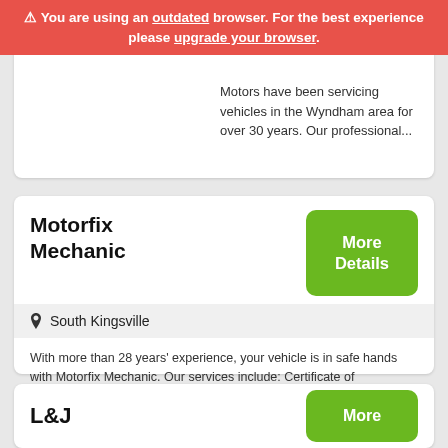You are using an outdated browser. For the best experience please upgrade your browser.
Motors have been servicing vehicles in the Wyndham area for over 30 years. Our professional...
Motorfix Mechanic
South Kingsville
With more than 28 years' experience, your vehicle is in safe hands with Motorfix Mechanic. Our services include: Certificate of roadworthiness for taxis, private vehicles and LPG vehicles Repairs on...
L&J